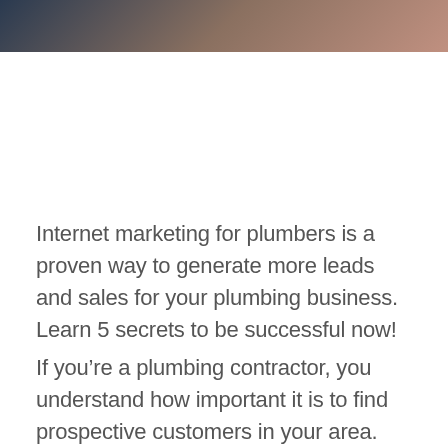[Figure (photo): Partial photograph of a person, cropped at the top of the page, showing a dark blue and skin-tone color strip.]
Internet marketing for plumbers is a proven way to generate more leads and sales for your plumbing business. Learn 5 secrets to be successful now!
If you’re a plumbing contractor, you understand how important it is to find prospective customers in your area. Traditional marketing techniques like newspaper ads and billboard advertising...